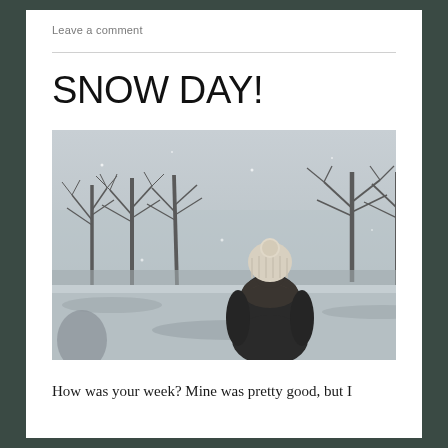Leave a comment
SNOW DAY!
[Figure (photo): A person wearing a knit hat and dark coat stands with their back to the camera in a snowy park, surrounded by bare leafless trees in a wintry, grey landscape.]
How was your week? Mine was pretty good, but I